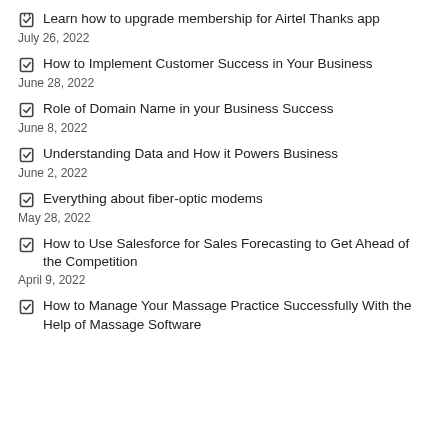Learn how to upgrade membership for Airtel Thanks app
July 26, 2022
How to Implement Customer Success in Your Business
June 28, 2022
Role of Domain Name in your Business Success
June 8, 2022
Understanding Data and How it Powers Business
June 2, 2022
Everything about fiber-optic modems
May 28, 2022
How to Use Salesforce for Sales Forecasting to Get Ahead of the Competition
April 9, 2022
How to Manage Your Massage Practice Successfully With the Help of Massage Software